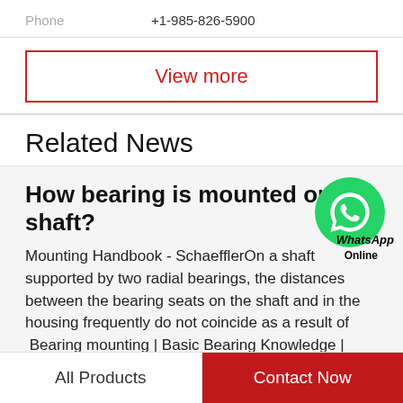Phone   +1-985-826-5900
View more
Related News
How bearing is mounted on shaft?
Mounting Handbook - SchaefflerOn a shaft supported by two radial bearings, the distances between the bearing seats on the shaft and in the housing frequently do not coincide as a result of  Bearing mounting | Basic Bearing Knowledge | Koyo...
All Products
Contact Now